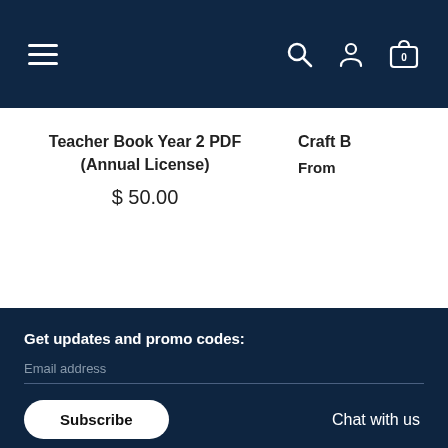Navigation bar with hamburger menu, search, account, and cart icons
Teacher Book Year 2 PDF (Annual License)
$ 50.00
Craft B
From
Get updates and promo codes:
Email address
Subscribe
Chat with us